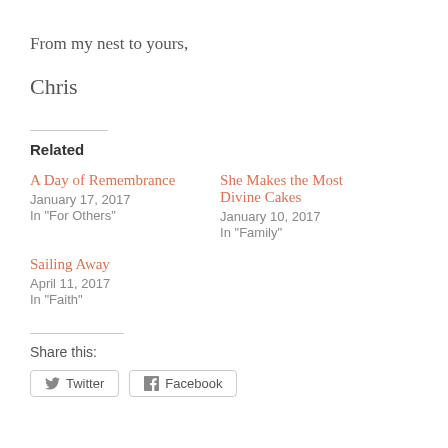From my nest to yours,
Chris
Related
A Day of Remembrance
January 17, 2017
In "For Others"
She Makes the Most Divine Cakes
January 10, 2017
In "Family"
Sailing Away
April 11, 2017
In "Faith"
Share this:
Twitter   Facebook